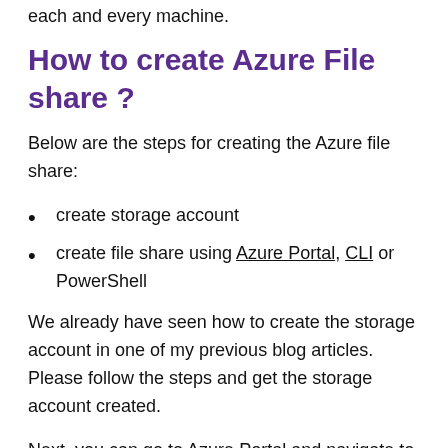each and every machine.
How to create Azure File share ?
Below are the steps for creating the Azure file share:
create storage account
create file share using Azure Portal, CLI or PowerShell
We already have seen how to create the storage account in one of my previous blog articles. Please follow the steps and get the storage account created.
Next, you can go to Azure Portal and navigate to your storage account.
Once you open the storage account, you should be